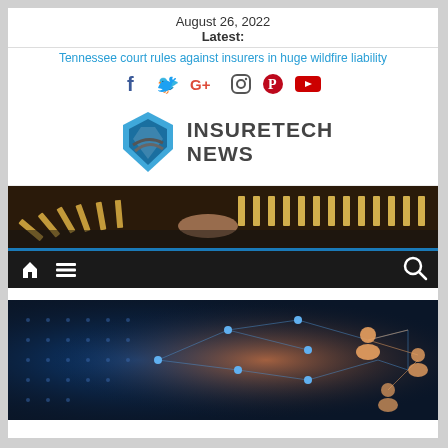August 26, 2022
Latest:
Tennessee court rules against insurers in huge wildfire liability
[Figure (logo): InsureTech News logo with blue shield icon and bold text]
[Figure (photo): Domino tiles falling in a row on a dark surface, hands visible stopping them]
[Figure (infographic): Navigation bar with home icon, hamburger menu, and search icon on dark background]
[Figure (photo): Network connectivity visualization with glowing nodes and person icons on dark blue background]